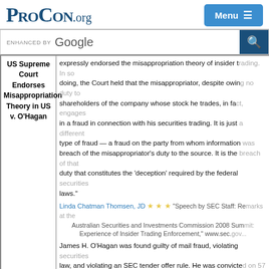ProCon.org | Menu
ENHANCED BY Google [search bar]
| Event | Description |
| --- | --- |
| US Supreme Court Endorses Misappropriation Theory in US v. O'Hagan | expressly endorsed the misappropriation theory of insider trading. In doing, the Court held that the misappropriator, despite owing no duty to shareholders of the company whose stock he trades, in fact, engages in a fraud in connection with his securities trading. It is just a different type of fraud — a fraud on the party from whom information was misappropriated. It is the breach of the misappropriator's duty to the source. It is the breach of that duty that constitutes the 'deception' required by the federal securities laws." Linda Chatman Thomsen, JD ★★★ "Speech by SEC Staff: Remarks at the Australian Securities and Investments Commission 2008 Summit: The US Experience of Insider Trading Enforcement," www.sec... James H. O'Hagan was found guilty of mail fraud, violating securities law, and violating an SEC tender offer rule. He was convicted... accounts and sentenced to 41 months in prison. US v. O'Hagan (448 KB) |
| 1998 SEC Requires "Plain English" Use in Company | "The SEC [US Securities Exchange Commission] required that Plain English - such as short sentences, everyday language, action... no legal jargon - be used in prospectuses and filings, in an... documents more readable and informative to the retail in... |